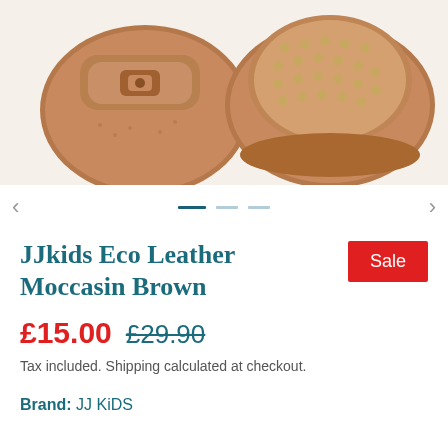[Figure (photo): Close-up photo of two brown eco leather moccasin baby shoes from above, showing studded detail on one shoe and buckle strap on the other, against white background.]
JJkids Eco Leather Moccasin Brown
£15.00  £29.90
Tax included. Shipping calculated at checkout.
Brand: JJ KiDS